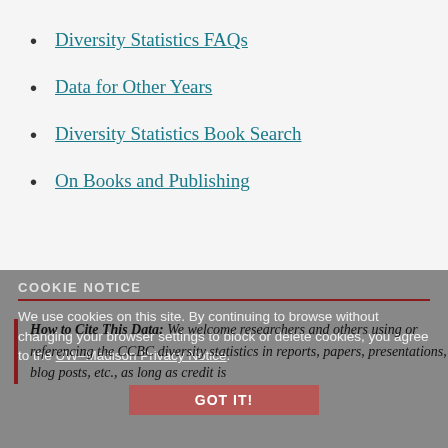Diversity Statistics FAQs
Data for Other Years
Diversity Statistics Book Search
On Books and Publishing
COOKIE NOTICE
We use cookies on this site. By continuing to browse without changing your browser settings to block or delete cookies, you agree to the UW–Madison Privacy Notice.
How to Cite This Data: We welcome researchers and others using or referencing the CCBC diversity statistics in reports, papers, presentations, blog posts, etc., as long as credit is
GOT IT!